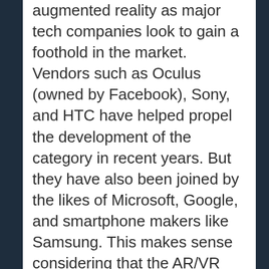augmented reality as major tech companies look to gain a foothold in the market. Vendors such as Oculus (owned by Facebook), Sony, and HTC have helped propel the development of the category in recent years. But they have also been joined by the likes of Microsoft, Google, and smartphone makers like Samsung. This makes sense considering that the AR/VR market is expected to reach $80 billion by 2025, according to recent Goldman Sachs estimates.
And while much of the consumer hype has been around VR devices, AR appears